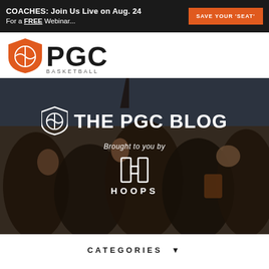COACHES: Join Us Live on Aug. 24 For a FREE Webinar... SAVE YOUR 'SEAT'
[Figure (logo): PGC Basketball logo with orange basketball shield icon and bold PGC text]
[Figure (photo): Basketball gym crowd photo with players and coaches huddled together, hands in, overlaid with THE PGC BLOG title text, PGC shield icon, 'Brought to you by' text, and HOOPS logo with H icon]
CATEGORIES ▾